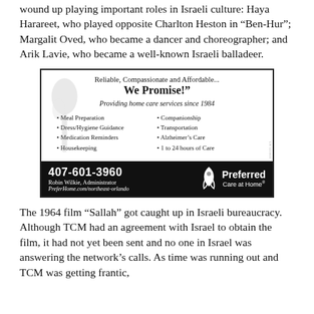wound up playing important roles in Israeli culture: Haya Harareet, who played opposite Charlton Heston in “Ben-Hur”; Margalit Oved, who became a dancer and choreographer; and Arik Lavie, who became a well-known Israeli balladeer.
[Figure (other): Advertisement for Preferred Care at Home. Headline: Reliable, Compassionate and Affordable... We Promise! Providing home care services since 1984. Services listed: Meal Preparation, Dress/Hygiene Guidance, Medication Reminders, Housekeeping, Companionship, Transportation, Alzheimer's Care, 1 to 24 hours of Care. Phone: 407-601-3960, Robin Wilkie Administrator, PreferHome.com/northeast-orlando. Preferred Care at Home logo.]
The 1964 film “Sallah” got caught up in Israeli bureaucracy. Although TCM had an agreement with Israel to obtain the film, it had not yet been sent and no one in Israel was answering the network’s calls. As time was running out and TCM was getting frantic,